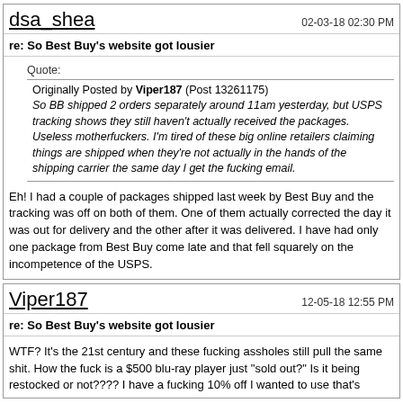dsa_shea   02-03-18 02:30 PM
re: So Best Buy's website got lousier
Quote:
Originally Posted by Viper187 (Post 13261175)
So BB shipped 2 orders separately around 11am yesterday, but USPS tracking shows they still haven't actually received the packages. Useless motherfuckers. I'm tired of these big online retailers claiming things are shipped when they're not actually in the hands of the shipping carrier the same day I get the fucking email.
Eh! I had a couple of packages shipped last week by Best Buy and the tracking was off on both of them. One of them actually corrected the day it was out for delivery and the other after it was delivered. I have had only one package from Best Buy come late and that fell squarely on the incompetence of the USPS.
Viper187   12-05-18 12:55 PM
re: So Best Buy's website got lousier
WTF? It's the 21st century and these fucking assholes still pull the same shit. How the fuck is a $500 blu-ray player just "sold out?" Is it being restocked or not???? I have a fucking 10% off I wanted to use that's